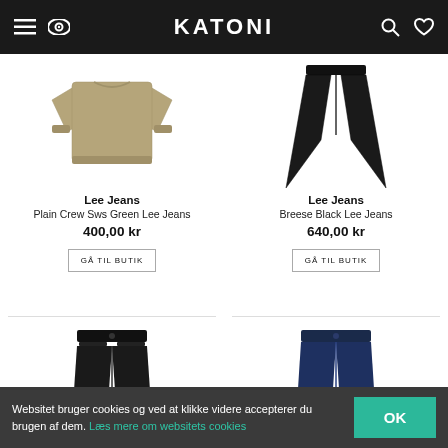KATONI
[Figure (photo): Tan/olive crew neck sweatshirt product photo on white background]
Lee Jeans
Plain Crew Sws Green Lee Jeans
400,00 kr
[Figure (photo): Black flare jeans product photo on white background]
Lee Jeans
Breese Black Lee Jeans
640,00 kr
[Figure (photo): Dark navy/black jeans product photo, partially visible]
[Figure (photo): Dark blue jeans product photo, partially visible]
Websitet bruger cookies og ved at klikke videre accepterer du brugen af dem. Læs mere om websitets cookies